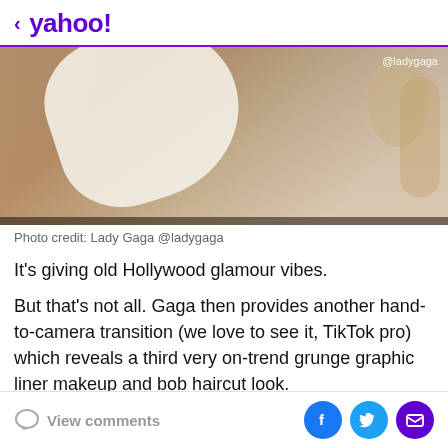< yahoo!
[Figure (photo): Close-up photo of Lady Gaga with white fabric/clothing and gold accessories, watermark @ladygaga in top right]
Photo credit: Lady Gaga @ladygaga
It's giving old Hollywood glamour vibes.
But that's not all. Gaga then provides another hand-to-camera transition (we love to see it, TikTok pro) which reveals a third very on-trend grunge graphic liner makeup and bob haircut look.
View comments